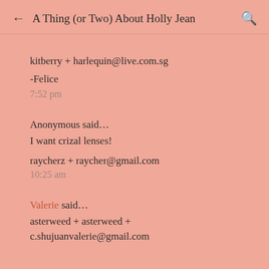← A Thing (or Two) About Holly Jean 🔍
kitberry + harlequin@live.com.sg
-Felice
7:52 pm
Anonymous said…
I want crizal lenses!
raycherz + raycher@gmail.com
10:25 am
Valerie said…
asterweed + asterweed + c.shujuanvalerie@gmail.com